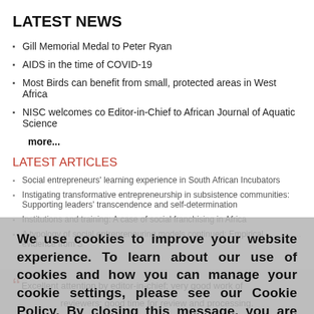LATEST NEWS
Gill Memorial Medal to Peter Ryan
AIDS in the time of COVID-19
Most Birds can benefit from small, protected areas in West Africa
NISC welcomes co Editor-in-Chief to African Journal of Aquatic Science
more...
LATEST ARTICLES
Social entrepreneurs' learning experience in South African Incubators
Instigating transformative entrepreneurship in subsistence communities: Supporting leaders' transcendence and self-determination
Institutions and training: A case of social franchising in Africa
A typology of social entrepreneuring models continued: Empirical evidence from S...
We use cookies to improve your website experience. To learn about our use of cookies and how you can manage your cookie settings, please see our Cookie Policy. By closing this message, you are consenting to our use of cookies.
Accept
“Excellent attention by editor-in-chief; very good work of reviewers; good time for review and processing.